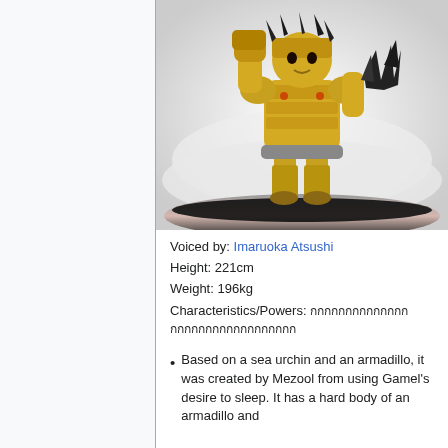[Figure (illustration): A large golden armadillo-like monster character standing in a fighting pose with one fist raised, wearing ornate golden armor, with dark spiky protrusions on one arm, set against a white misty background with a dark curved surface at the bottom.]
Voiced by: Imaruoka Atsushi
Height: 221cm
Weight: 196kg
Characteristics/Powers: [Thai text characters]
Based on a sea urchin and an armadillo, it was created by Mezool from using Gamel's desire to sleep. It has a hard body of an armadillo and